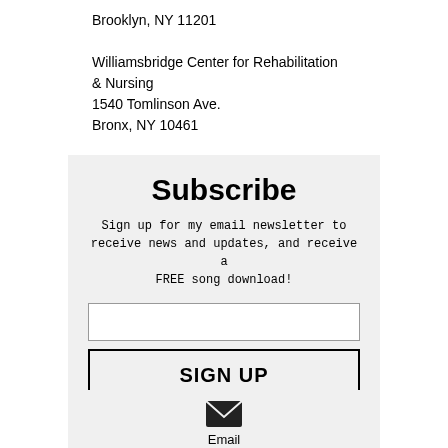Brooklyn, NY 11201

Williamsbridge Center for Rehabilitation & Nursing
1540 Tomlinson Ave.
Bronx, NY 10461
Subscribe
Sign up for my email newsletter to receive news and updates, and receive a FREE song download!
[Figure (screenshot): Email input field (empty text box)]
[Figure (screenshot): SIGN UP button with bold text and dark border]
[Figure (screenshot): Email icon (envelope) with label 'Email' below it, inside a light grey box]